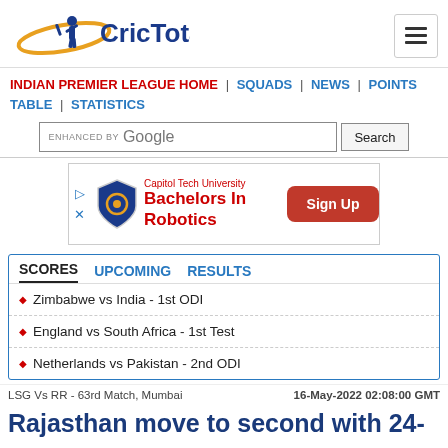[Figure (logo): CricTotal website logo with cricket player silhouette and orange swoosh]
INDIAN PREMIER LEAGUE HOME | SQUADS | NEWS | POINTS TABLE | STATISTICS
[Figure (screenshot): Google enhanced search bar with Search button]
[Figure (infographic): Capitol Tech University advertisement - Bachelors In Robotics with Sign Up button]
SCORES  UPCOMING  RESULTS
Zimbabwe vs India - 1st ODI
England vs South Africa - 1st Test
Netherlands vs Pakistan - 2nd ODI
LSG Vs RR - 63rd Match, Mumbai    16-May-2022 02:08:00 GMT
Rajasthan move to second with 24-